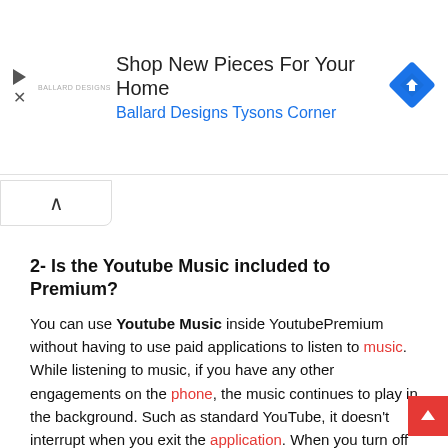[Figure (screenshot): Advertisement banner: 'Shop New Pieces For Your Home – Ballard Designs Tysons Corner' with a Google Maps-style navigation diamond icon on the right, a play icon and X icon on the left, and a small logo placeholder.]
[Figure (other): Scroll-up tab/button with a caret (^) symbol.]
2- Is the Youtube Music included to Premium?
You can use Youtube Music inside YoutubePremium without having to use paid applications to listen to music. While listening to music, if you have any other engagements on the phone, the music continues to play in the background. Such as standard YouTube, it doesn't interrupt when you exit the application. When you turn off the screen, you can listen to music . That provides your battery to run out later. If your location is your Ho Tube Music, you can keep on...